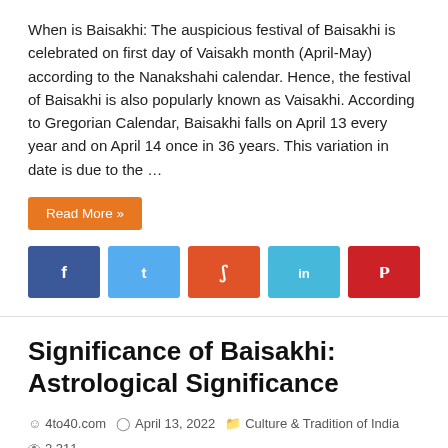When is Baisakhi: The auspicious festival of Baisakhi is celebrated on first day of Vaisakh month (April-May) according to the Nanakshahi calendar. Hence, the festival of Baisakhi is also popularly known as Vaisakhi. According to Gregorian Calendar, Baisakhi falls on April 13 every year and on April 14 once in 36 years. This variation in date is due to the …
Read More »
[Figure (infographic): Social share buttons: Facebook (blue), Twitter (light blue), StumbleUpon (orange-red), LinkedIn (teal), Pinterest (red)]
Significance of Baisakhi: Astrological Significance
4to40.com  April 13, 2022  Culture & Tradition of India  2,311
[Figure (photo): Photo of women in colorful traditional Indian dress including red dupatta, outdoors with green trees in background]